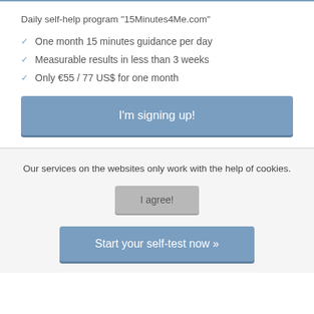Daily self-help program "15Minutes4Me.com"
One month 15 minutes guidance per day
Measurable results in less than 3 weeks
Only €55 / 77 US$ for one month
[Figure (screenshot): Blue button labeled "I'm signing up!"]
Our services on the websites only work with the help of cookies.
[Figure (screenshot): Grey button labeled "I agree!"]
[Figure (screenshot): Blue-grey button labeled "Start your self-test now »"]